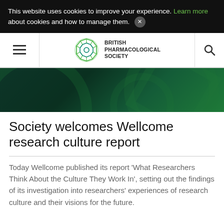This website uses cookies to improve your experience. Learn more about cookies and how to manage them.
[Figure (logo): British Pharmacological Society logo — green geometric polygon with text]
[Figure (photo): Dark green hero banner with geometric circular patterns]
Society welcomes Wellcome research culture report
Today Wellcome published its report 'What Researchers Think About the Culture They Work In', setting out the findings of its investigation into researchers' experiences of research culture and their visions for the future.